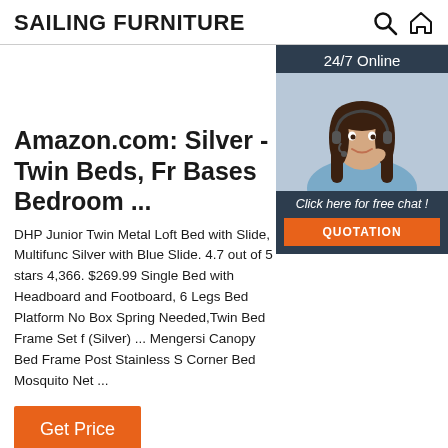SAILING FURNITURE
[Figure (photo): Customer service representative woman with headset, with 24/7 Online label, free chat prompt, and QUOTATION button in a dark blue widget]
Amazon.com: Silver - Twin Beds, Fr Bases Bedroom ...
DHP Junior Twin Metal Loft Bed with Slide, Multifunc Silver with Blue Slide. 4.7 out of 5 stars 4,366. $269.99 Single Bed with Headboard and Footboard, 6 Legs Bed Platform No Box Spring Needed,Twin Bed Frame Set f (Silver) ... Mengersi Canopy Bed Frame Post Stainless S Corner Bed Mosquito Net ...
Get Price